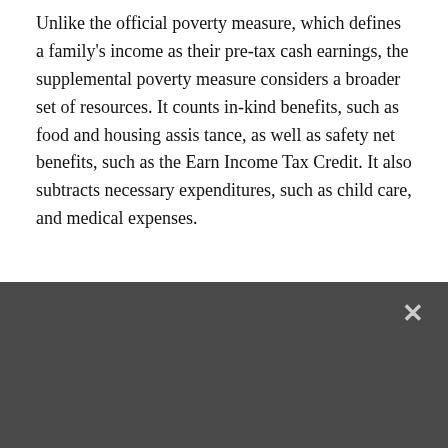Unlike the official poverty measure, which defines a family's income as their pre-tax cash earnings, the supplemental poverty measure considers a broader set of resources. It counts in-kind benefits, such as food and housing assistance, as well as safety net benefits, such as the Earn Income Tax Credit. It also subtracts necessary expenditures, such as child care, and medical expenses.
[Figure (screenshot): Newsletter subscription modal overlay with dark grey background. Contains text 'Subscribe to our newsletter to get our data, reports and news in your inbox.' with an email address input field, a SELECT ROLE dropdown, and a SUBSCRIBE button. A close (X) button is in the top-right corner of the overlay.]
Income thresholds for this measure extend beyond food costs and include other basic necessities, such as clothing and shelter. Thresholds vary by location and housing arrangements, and can expand the family unit to include cohabitors who share household resources.
In 2018, some of these thresholds were:
$26,342 for a family of four with two children and a home mortgage payment.